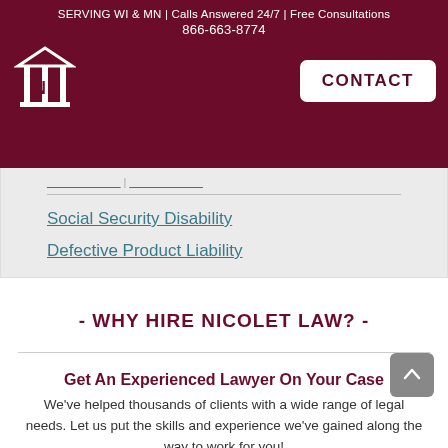SERVING WI & MN | Calls Answered 24/7 | Free Consultations
866-663-8774
CONTACT
Social Security Disability
Defective Product Liability
- WHY HIRE NICOLET LAW? -
Get An Experienced Lawyer On Your Case
We've helped thousands of clients with a wide range of legal needs. Let us put the skills and experience we've gained along the way to work for you!